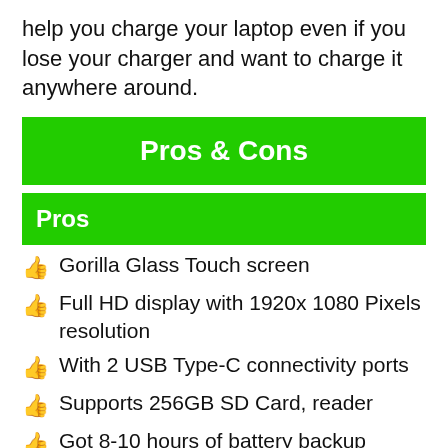help you charge your laptop even if you lose your charger and want to charge it anywhere around.
Pros & Cons
Pros
Gorilla Glass Touch screen
Full HD display with 1920x 1080 Pixels resolution
With 2 USB Type-C connectivity ports
Supports 256GB SD Card, reader
Got 8-10 hours of battery backup